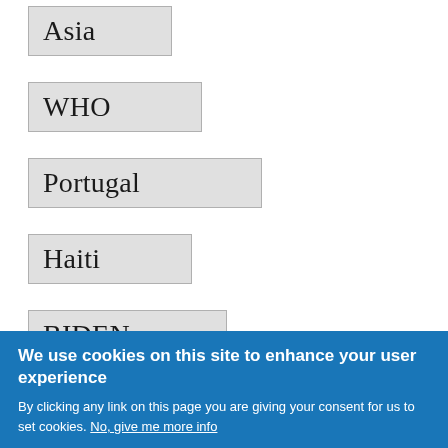Asia
WHO
Portugal
Haiti
BIDEN
Seals
We use cookies on this site to enhance your user experience
By clicking any link on this page you are giving your consent for us to set cookies. No, give me more info